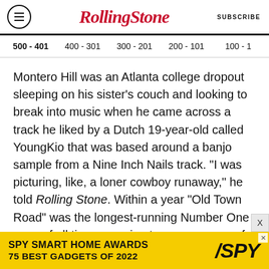Rolling Stone | SUBSCRIBE
500 - 401   400 - 301   300 - 201   200 - 101   100 - 1
Montero Hill was an Atlanta college dropout sleeping on his sister's couch and looking to break into music when he came across a track he liked by a Dutch 19-year-old called YoungKio that was based around a banjo sample from a Nine Inch Nails track. “I was picturing, like, a loner cowboy runaway,” he told Rolling Stone. Within a year “Old Town Road” was the longest-running Number One song of all time, seeming to sum up eons of American cross-cultural love and theft in
[Figure (infographic): SPY Smart Home Awards advertisement banner: yellow background with bold black text reading 'SPY SMART HOME AWARDS / 75 BEST GADGETS OF 2022' and SPY logo in italic bold text on right side.]